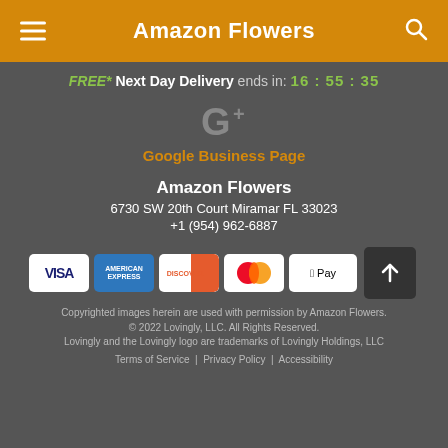Amazon Flowers
FREE* Next Day Delivery ends in: 16:55:35
[Figure (logo): Google+ icon]
Google Business Page
Amazon Flowers
6730 SW 20th Court Miramar FL 33023
+1 (954) 962-6887
[Figure (other): Payment method icons: VISA, American Express, Discover, Mastercard, Apple Pay]
Copyrighted images herein are used with permission by Amazon Flowers.
© 2022 Lovingly, LLC. All Rights Reserved.
Lovingly and the Lovingly logo are trademarks of Lovingly Holdings, LLC
Terms of Service | Privacy Policy | Accessibility